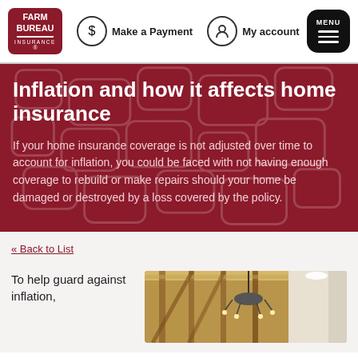[Figure (logo): Farm Bureau Insurance logo - red rounded rectangle with white text]
Make a Payment   My account   MENU
Inflation and how it affects home insurance
If your home insurance coverage is not adjusted over time to account for inflation, you could be faced with not having enough coverage to rebuild or make repairs should your home be damaged or destroyed by a loss covered by the policy.
<< Back to List
To help guard against inflation,
[Figure (photo): Construction framing of a house interior with chandelier visible]